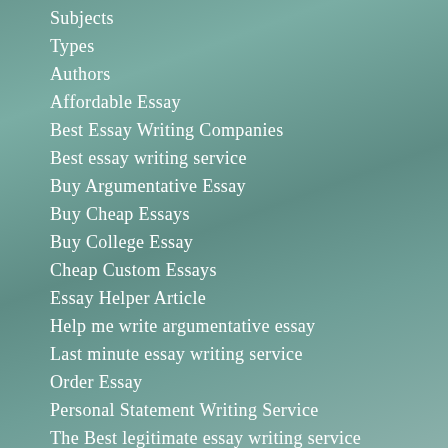Subjects
Types
Authors
Affordable Essay
Best Essay Writing Companies
Best essay writing service
Buy Argumentative Essay
Buy Cheap Essays
Buy College Essay
Cheap Custom Essays
Essay Helper Article
Help me write argumentative essay
Last minute essay writing service
Order Essay
Personal Statement Writing Service
The Best legitimate essay writing service
Thesis writing service